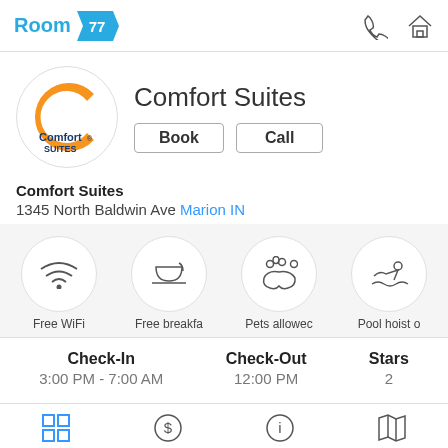Room 77
[Figure (logo): Comfort Suites hotel logo - circle with orange C and 'Comfort Suites' text]
Comfort Suites
Book | Call
Comfort Suites
1345 North Baldwin Ave Marion IN
[Figure (infographic): Four amenity icons in circles: Free WiFi, Free breakfast, Pets allowed, Pool hoist or]
| Check-In | Check-Out | Stars |
| --- | --- | --- |
| 3:00 PM - 7:00 AM | 12:00 PM | 2 |
[Figure (infographic): Bottom navigation bar icons: grid, dollar sign, info, map]